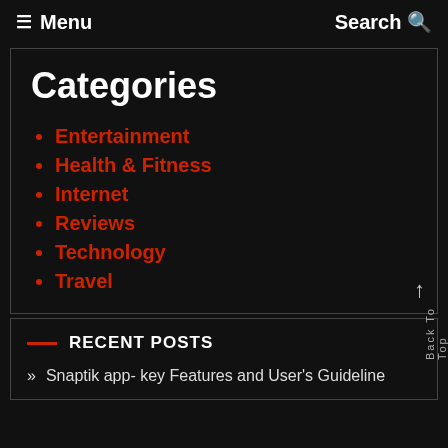≡ Menu   Search Q
Categories
Entertainment
Health & Fitness
Internet
Reviews
Technology
Travel
RECENT POSTS
Snaptik app- key Features and User's Guideline